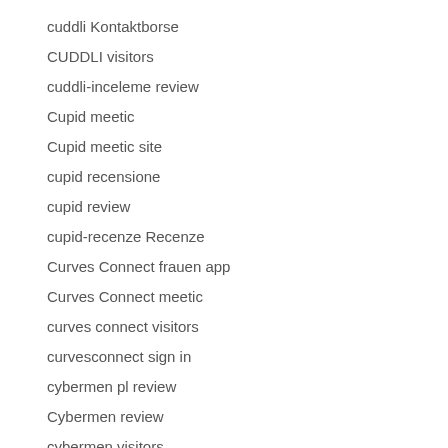cuddli Kontaktborse
CUDDLI visitors
cuddli-inceleme review
Cupid meetic
Cupid meetic site
cupid recensione
cupid review
cupid-recenze Recenze
Curves Connect frauen app
Curves Connect meetic
curves connect visitors
curvesconnect sign in
cybermen pl review
Cybermen review
cybermen visitors